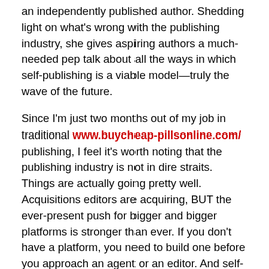an independently published author. Shedding light on what's wrong with the publishing industry, she gives aspiring authors a much-needed pep talk about all the ways in which self-publishing is a viable model—truly the wave of the future.
Since I'm just two months out of my job in traditional www.buycheap-pillsonline.com/ publishing, I feel it's worth noting that the publishing industry is not in dire straits. Things are actually going pretty well. Acquisitions editors are acquiring, BUT the ever-present push for bigger and bigger platforms is stronger than ever. If you don't have a platform, you need to build one before you approach an agent or an editor. And self-publishing a segment of your book as an e-book, or even self-publishing your first book (meaning making it available not only as an e-book, but also as a print-on-demand and/or print book), is a good way to build that platform. Maybe, like Jessica Park, you'll find that you like it so much you won't even want to pursue